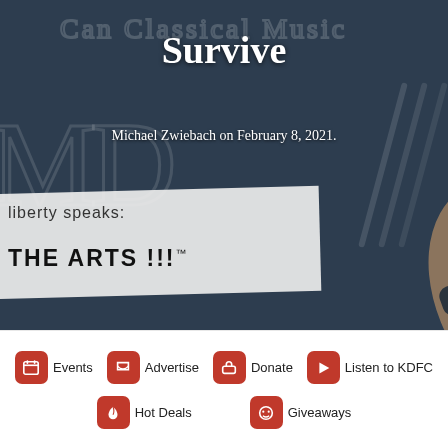[Figure (photo): Hero image showing a hand writing on a dark chalkboard with chalk outline text, and a white paper strip in the lower left showing 'liberty speaks:' and 'THE ARTS !!!'. Title overlay reads 'Survive' and byline reads 'Michael Zwiebach on February 8, 2021.']
Survive
Michael Zwiebach on February 8, 2021.
liberty speaks:
THE ARTS !!!
Events  Advertise  Donate  Listen to KDFC  Hot Deals  Giveaways